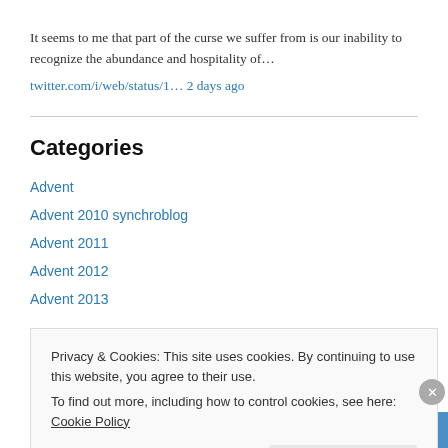It seems to me that part of the curse we suffer from is our inability to recognize the abundance and hospitality of…
twitter.com/i/web/status/1… 2 days ago
Categories
Advent
Advent 2010 synchroblog
Advent 2011
Advent 2012
Advent 2013
Privacy & Cookies: This site uses cookies. By continuing to use this website, you agree to their use.
To find out more, including how to control cookies, see here: Cookie Policy
Close and accept